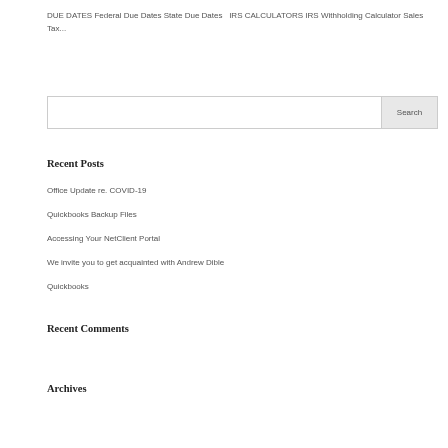DUE DATES Federal Due Dates State Due Dates   IRS CALCULATORS IRS Withholding Calculator Sales Tax...
[Figure (screenshot): Search input box with Search button]
Recent Posts
Office Update re. COVID-19
Quickbooks Backup Files
Accessing Your NetClient Portal
We invite you to get acquainted with Andrew Dible
Quickbooks
Recent Comments
Archives